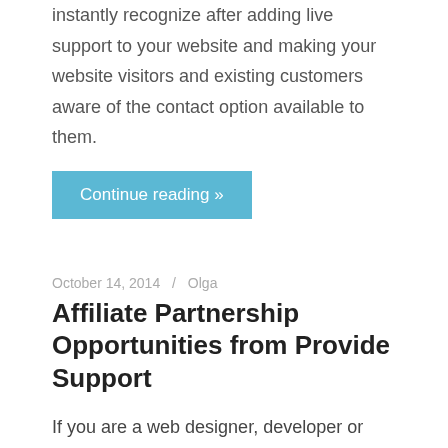instantly recognize after adding live support to your website and making your website visitors and existing customers aware of the contact option available to them.
Continue reading »
October 14, 2014  /  Olga
Affiliate Partnership Opportunities from Provide Support
If you are a web designer, developer or just have customers who are interested in adding live chat software to their websites, Provide Support partner program is for you. Being in business for more than 10 years Provide Support Live Chat and Real Time Visitors Monitoring software has gained solid reputation and is